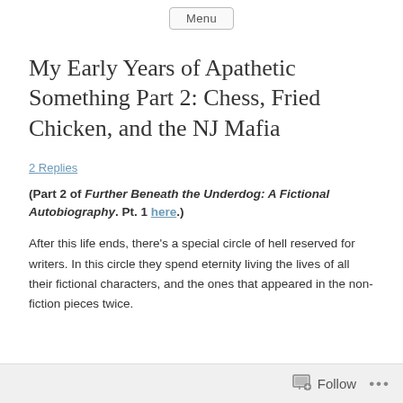Menu
My Early Years of Apathetic Something Part 2: Chess, Fried Chicken, and the NJ Mafia
2 Replies
(Part 2 of Further Beneath the Underdog: A Fictional Autobiography. Pt. 1 here.)
After this life ends, there’s a special circle of hell reserved for writers. In this circle they spend eternity living the lives of all their fictional characters, and the ones that appeared in the non-fiction pieces twice.
Follow ...